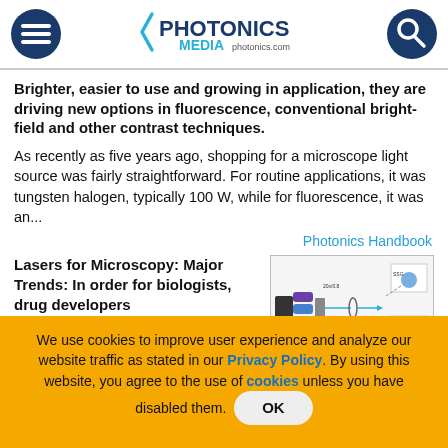Photonics Media photonics.com
Brighter, easier to use and growing in application, they are driving new options in fluorescence, conventional bright-field and other contrast techniques.
As recently as five years ago, shopping for a microscope light source was fairly straightforward. For routine applications, it was tungsten halogen, typically 100 W, while for fluorescence, it was an...
Photonics Handbook
Lasers for Microscopy: Major Trends: In order for biologists, drug developers
[Figure (illustration): Diagram showing laser microscopy optical setup with colored laser beams, lenses, and detection components including SSG detector]
We use cookies to improve user experience and analyze our website traffic as stated in our Privacy Policy. By using this website, you agree to the use of cookies unless you have disabled them. OK